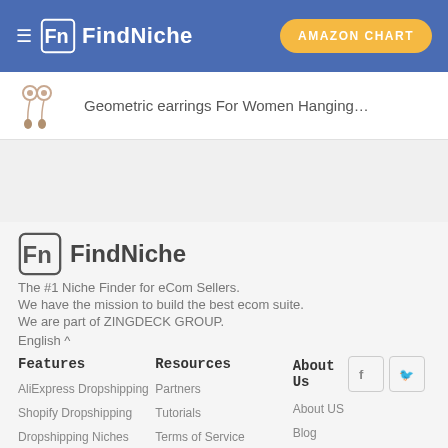FindNiche — AMAZON CHART
[Figure (screenshot): Product thumbnail showing geometric earrings with text 'Geometric earrings For Women Hanging...']
[Figure (logo): FindNiche logo in footer — FN icon with text FindNiche]
The #1 Niche Finder for eCom Sellers.
We have the mission to build the best ecom suite.
We are part of ZINGDECK GROUP.
English ^
Features
Resources
About Us
AliExpress Dropshipping
Partners
About US
Shopify Dropshipping
Tutorials
Blog
Dropshipping Niches
Terms of Service
FAQ
Market Insight
Privacy Policy
Release Notes